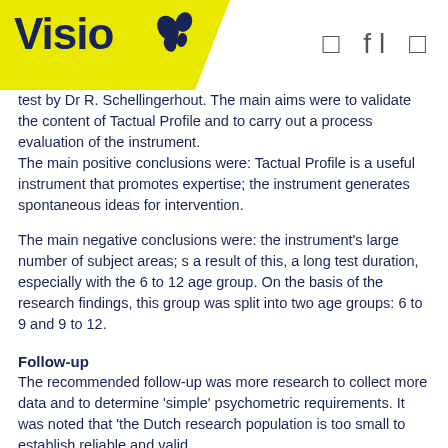Visio [logo with butterfly icon] [icons]
test by Dr R. Schellingerhout. The main aims were to validate the content of Tactual Profile and to carry out a process evaluation of the instrument.
The main positive conclusions were: Tactual Profile is a useful instrument that promotes expertise; the instrument generates spontaneous ideas for intervention.
The main negative conclusions were: the instrument's large number of subject areas; s a result of this, a long test duration, especially with the 6 to 12 age group. On the basis of the research findings, this group was split into two age groups: 6 to 9 and 9 to 12.
Follow-up
The recommended follow-up was more research to collect more data and to determine 'simple' psychometric requirements. It was noted that 'the Dutch research population is too small to establish reliable and valid